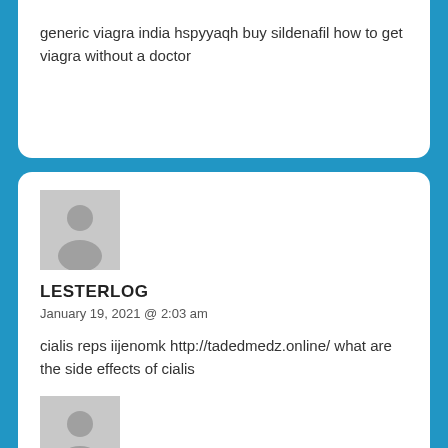generic viagra india hspyyaqh buy sildenafil how to get viagra without a doctor
LESTERLOG
January 19, 2021 @ 2:03 am
cialis reps iijenomk http://tadedmedz.online/ what are the side effects of cialis
GERALDORARM